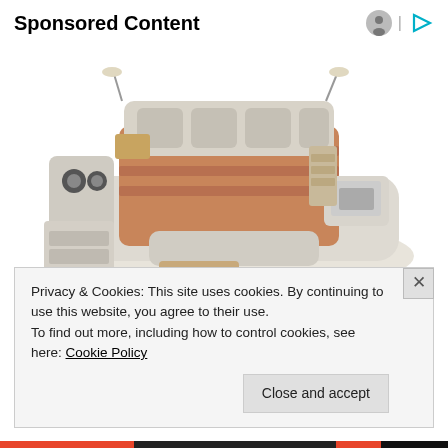Sponsored Content
[Figure (photo): A large modern multi-functional bed with built-in speakers, storage drawers, massage chair, laptop stand, reading lamps, and various accessories in beige/cream upholstery with wood accents.]
Privacy & Cookies: This site uses cookies. By continuing to use this website, you agree to their use.
To find out more, including how to control cookies, see here: Cookie Policy
Close and accept